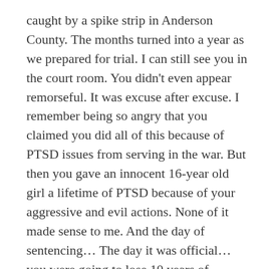caught by a spike strip in Anderson County. The months turned into a year as we prepared for trial. I can still see you in the court room. You didn't even appear remorseful. It was excuse after excuse. I remember being so angry that you claimed you did all of this because of PTSD issues from serving in the war. But then you gave an innocent 16-year old girl a lifetime of PTSD because of your aggressive and evil actions. None of it made sense to me. And the day of sentencing... The day it was official... you were going to lose 10 years of freedom, you rose up from your chair in the courtroom, guards' appeared immediately as you demanded to speak to me. The look on your face was so distorted and